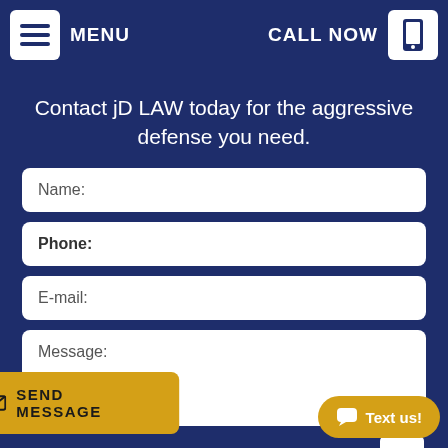MENU   CALL NOW
Contact jD LAW today for the aggressive defense you need.
[Figure (screenshot): Web contact form with fields: Name, Phone, E-mail, Message, Anti-spam question (0 + 3 =), and a SEND MESSAGE button. Also a 'Text us!' floating button.]